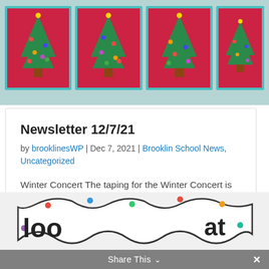[Figure (photo): Four hand-crafted Christmas tree cards with green sequin trees on red backgrounds with teal/turquoise borders, arranged side by side on a light surface.]
Newsletter 12/7/21
by brooklinesWP | Dec 7, 2021 | Brooklin School News, Uncategorized
Winter Concert The taping for the Winter Concert is on December 10th. Unfortunately with COVID we are not allowed to meet in person to see our children perform.  The film should be available for everyone to view later that evening. Table Talk- Take Two Table Talk…
[Figure (photo): Partial view of a 'Look What We Are Learning' banner or sign at the bottom of the page, showing decorative shapes and large bold text 'loo' and 'at' visible.]
Share This ×